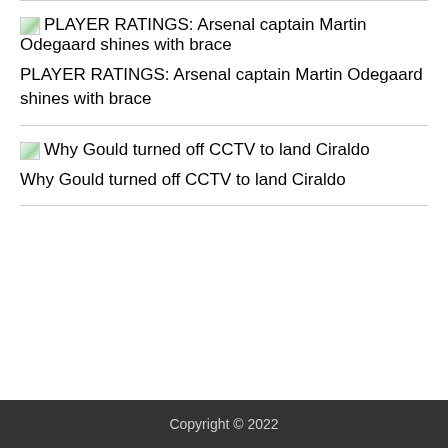[Figure (other): Thumbnail image placeholder for PLAYER RATINGS article]
PLAYER RATINGS: Arsenal captain Martin Odegaard shines with brace
PLAYER RATINGS: Arsenal captain Martin Odegaard shines with brace
[Figure (other): Thumbnail image placeholder for Why Gould turned off CCTV article]
Why Gould turned off CCTV to land Ciraldo
Why Gould turned off CCTV to land Ciraldo
Copyright © 2022